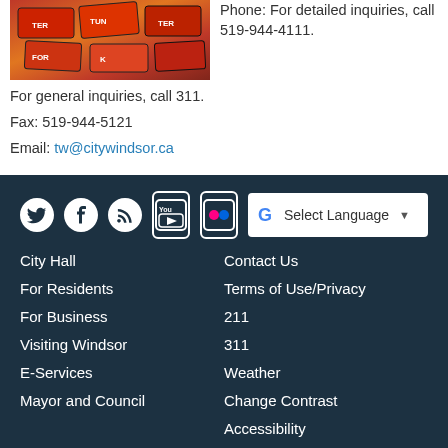[Figure (photo): Photo of license plates, orange and red tones]
Phone: For detailed inquiries, call 519-944-4111.
For general inquiries, call 311.
Fax: 519-944-5121
Email: tw@citywindsor.ca
Social media icons: Twitter, Facebook, RSS, YouTube, Flickr. Select Language button. Links: City Hall, For Residents, For Business, Visiting Windsor, E-Services, Mayor and Council, Contact Us, Terms of Use/Privacy, 211, 311, Weather, Change Contrast, Accessibility. © City Of Windsor